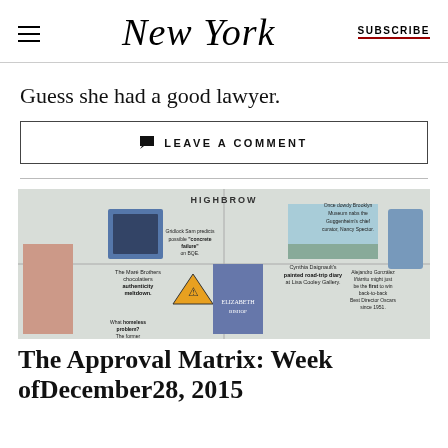NEW YORK | SUBSCRIBE
Guess she had a good lawyer.
LEAVE A COMMENT
[Figure (photo): Approval Matrix magazine spread photo showing a grid layout with various cultural items, images, and text snippets including 'HIGHBROW' heading]
The Approval Matrix: Week ofDecember28, 2015